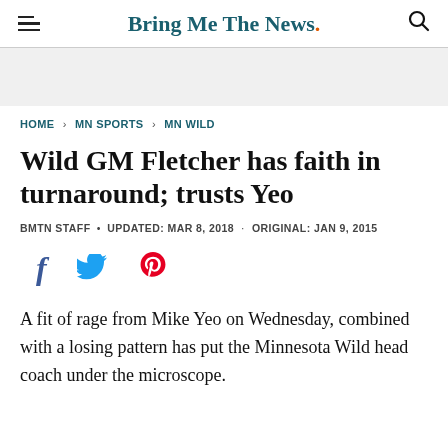Bring Me The News.
HOME > MN SPORTS > MN WILD
Wild GM Fletcher has faith in turnaround; trusts Yeo
BMTN STAFF • UPDATED: MAR 8, 2018 · ORIGINAL: JAN 9, 2015
[Figure (other): Social share icons: Facebook, Twitter, Pinterest]
A fit of rage from Mike Yeo on Wednesday, combined with a losing pattern has put the Minnesota Wild head coach under the microscope.